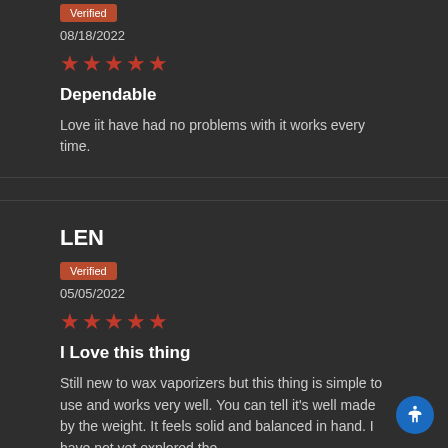Verified
08/18/2022
[Figure (other): 5 red stars rating]
Dependable
Love iit have had no problems with it works every time.
LEN
Verified
05/05/2022
[Figure (other): 5 red stars rating]
I Love this thing
Still new to wax vaporizers but this thing is simple to use and works very well. You can tell it's well made by the weight. It feels solid and balanced in hand. I have not yet explored the